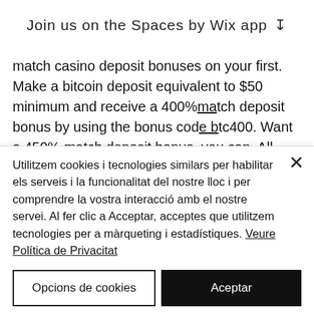Join us on the Spaces by Wix app ↓
match casino deposit bonuses on your first. Make a bitcoin deposit equivalent to $50 minimum and receive a 400% match deposit bonus by using the bonus code btc400. Want a 450% match deposit bonus, you can. All tickets for the september 18, 2020 show will be allocated for the september 17, 2021 show. We do not store their private data in any system. It goes from 10, 25, 50, 100 to even sometimes 200 dollars, euros or in whatever currency whatever the casino
Utilitzem cookies i tecnologies similars per habilitar els serveis i la funcionalitat del nostre lloc i per comprendre la vostra interacció amb el nostre servei. Al fer clic a Acceptar, acceptes que utilitzem tecnologies per a màrqueting i estadístiques. Veure Política de Privacitat
Opcions de cookies
Aceptar